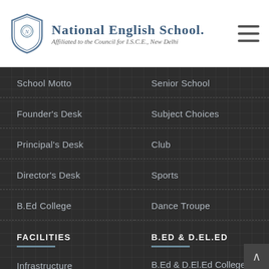[Figure (logo): National English School shield/crest logo with text 'National English School' and subtitle 'Affiliated to the Council for I.S.C.E., New Delhi']
School Motto
Senior School
Founder's Desk
Subject Choices
Principal's Desk
Club
Director's Desk
Sports
B.Ed College
Dance Troupe
FACILITIES
B.ED & D.EL.ED
Infrastructure
B.Ed & D.El.Ed College Rajarhat Campus